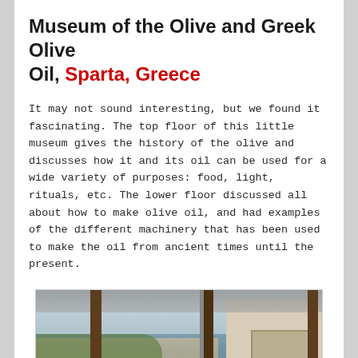Museum of the Olive and Greek Olive Oil, Sparta, Greece
It may not sound interesting, but we found it fascinating. The top floor of this little museum gives the history of the olive and discusses how it and its oil can be used for a wide variety of purposes: food, light, rituals, etc. The lower floor discussed all about how to make olive oil, and had examples of the different machinery that has been used to make the oil from ancient times until the present.
[Figure (photo): Exterior photo of the Museum of the Olive and Greek Olive Oil in Sparta. A person in a teal/blue jacket stands in front of wooden posts/pillars of the museum structure. The building has a modern design with glass and wood elements. Stone walls and green foliage visible in the background.]